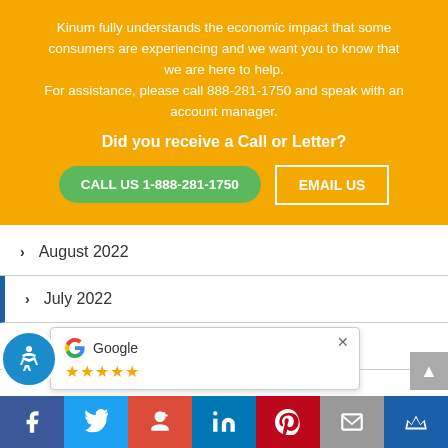Kinum fully understands the economic impact that some consumers are experiencing and we want you to know that we are here to help. For assistance, please call 888-281-1750 and speak with an account manager.
Did you receive a Call or Letter?
CALL US 1-888-281-1750
EMAIL US
August 2022
July 2022
June 2022
[Figure (screenshot): Google review popup showing Google logo and star rating]